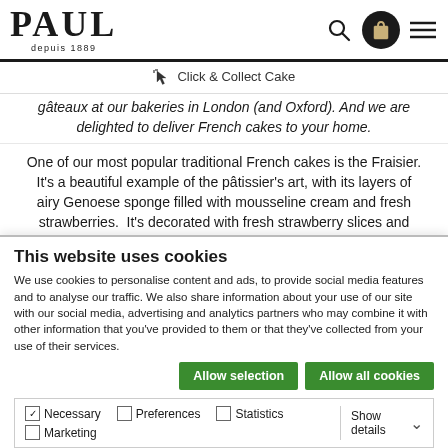PAUL depuis 1889
Click & Collect Cake
gâteaux at our bakeries in London (and Oxford). And we are delighted to deliver French cakes to your home.
One of our most popular traditional French cakes is the Fraisier. It's a beautiful example of the pâtissier's art, with its layers of airy Genoese sponge filled with mousseline cream and fresh strawberries.  It's decorated with fresh strawberry slices and
This website uses cookies
We use cookies to personalise content and ads, to provide social media features and to analyse our traffic. We also share information about your use of our site with our social media, advertising and analytics partners who may combine it with other information that you've provided to them or that they've collected from your use of their services.
Allow selection | Allow all cookies
Necessary  Preferences  Statistics  Marketing  Show details